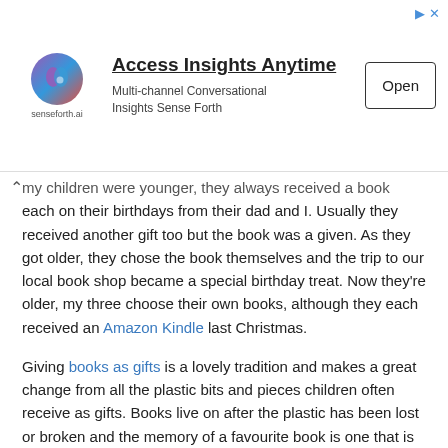[Figure (other): Advertisement banner for senseforth.ai — Access Insights Anytime, Multi-channel Conversational Insights Sense Forth, with Open button]
my children were younger, they always received a book each on their birthdays from their dad and I. Usually they received another gift too but the book was a given. As they got older, they chose the book themselves and the trip to our local book shop became a special birthday treat. Now they're older, my three choose their own books, although they each received an Amazon Kindle last Christmas.
Giving books as gifts is a lovely tradition and makes a great change from all the plastic bits and pieces children often receive as gifts. Books live on after the plastic has been lost or broken and the memory of a favourite book is one that is treasured by many adults.